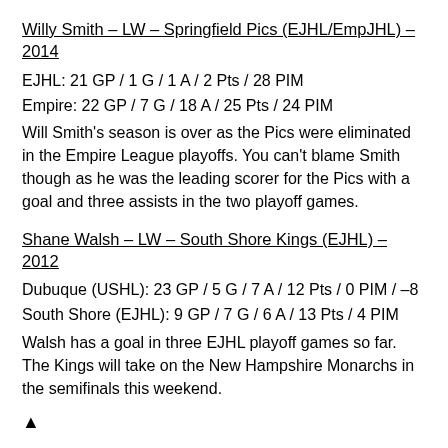Willy Smith – LW – Springfield Pics (EJHL/EmpJHL) – 2014
EJHL: 21 GP / 1 G / 1 A / 2 Pts / 28 PIM
Empire: 22 GP / 7 G / 18 A / 25 Pts / 24 PIM
Will Smith's season is over as the Pics were eliminated in the Empire League playoffs.  You can't blame Smith though as he was the leading scorer for the Pics with a goal and three assists in the two playoff games.
Shane Walsh – LW – South Shore Kings (EJHL) – 2012
Dubuque (USHL): 23 GP / 5 G / 7 A / 12 Pts / 0 PIM / –8
South Shore (EJHL): 9 GP / 7 G / 6 A / 13 Pts / 4 PIM
Walsh has a goal in three EJHL playoff games so far.  The Kings will take on the New Hampshire Monarchs in the semifinals this weekend.